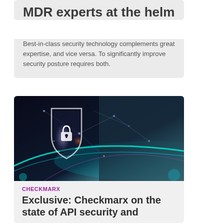MDR experts at the helm
Best-in-class security technology complements great expertise, and vice versa. To significantly improve security posture requires both.
[Figure (photo): Digital security concept: glowing shield with padlock icon against dark background with network connections and blue teal light streaks, hands in background]
CHECKMARX
Exclusive: Checkmarx on the state of API security and